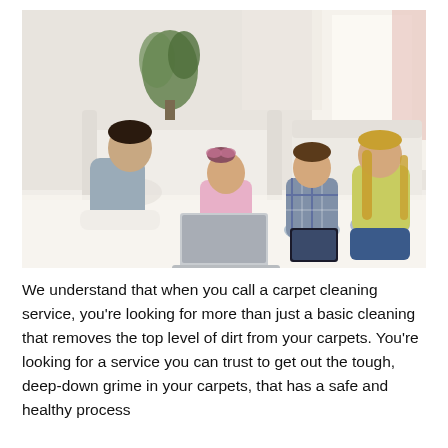[Figure (photo): A family of four (father, mother, young daughter, young son) sitting together on a white carpet in a bright living room. The father reclines with a laptop, the daughter sits cross-legged next to him in pink, the son sits between the parents holding a tablet, and the mother kneels beside them in a yellow top. A white sofa and green plant are visible in the background.]
We understand that when you call a carpet cleaning service, you're looking for more than just a basic cleaning that removes the top level of dirt from your carpets. You're looking for a service you can trust to get out the tough, deep-down grime in your carpets, that has a safe and healthy process